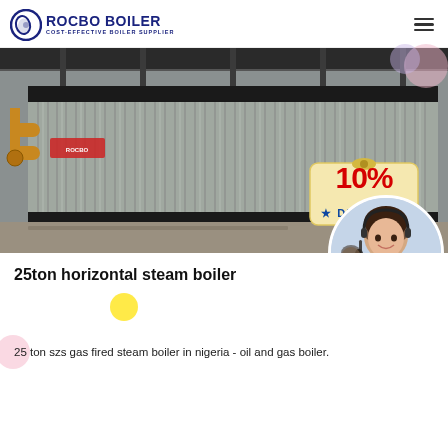ROCBO BOILER COST-EFFECTIVE BOILER SUPPLIER
[Figure (photo): Large industrial horizontal steam boiler with corrugated metal casing inside a factory, with yellow pipes visible on the left. A '10% DISCOUNT' badge is overlaid on the lower right of the photo.]
25ton horizontal steam boiler
25 ton szs gas fired steam boiler in nigeria - oil and gas boiler.